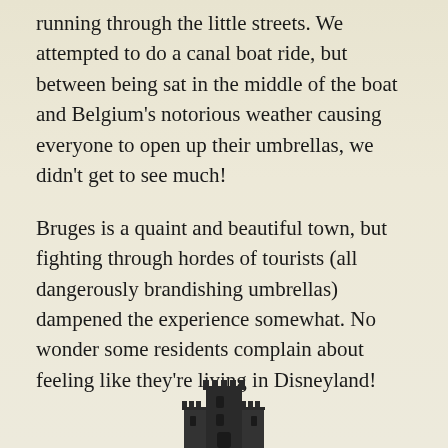running through the little streets. We attempted to do a canal boat ride, but between being sat in the middle of the boat and Belgium's notorious weather causing everyone to open up their umbrellas, we didn't get to see much!
Bruges is a quaint and beautiful town, but fighting through hordes of tourists (all dangerously brandishing umbrellas) dampened the experience somewhat. No wonder some residents complain about feeling like they're living in Disneyland!
[Figure (illustration): A small dark illustration of a Gothic or medieval building/tower at the bottom of the page]